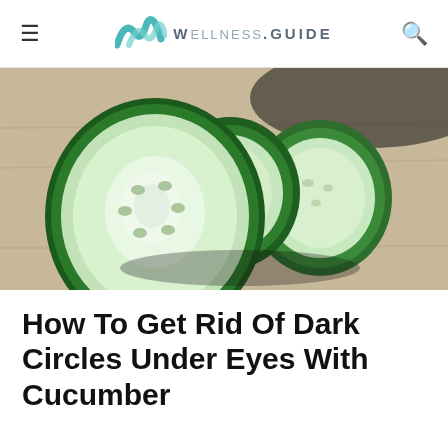WELLNESS.GUIDE
[Figure (photo): Close-up photo of sliced cucumber rounds stacked on a wooden surface, showing green skin and pale interior flesh]
How To Get Rid Of Dark Circles Under Eyes With Cucumber